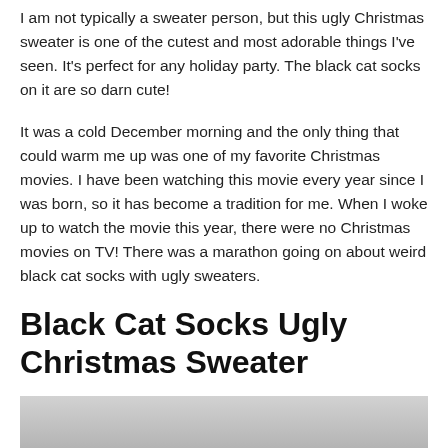I am not typically a sweater person, but this ugly Christmas sweater is one of the cutest and most adorable things I've seen. It's perfect for any holiday party. The black cat socks on it are so darn cute!
It was a cold December morning and the only thing that could warm me up was one of my favorite Christmas movies. I have been watching this movie every year since I was born, so it has become a tradition for me. When I woke up to watch the movie this year, there were no Christmas movies on TV! There was a marathon going on about weird black cat socks with ugly sweaters.
Black Cat Socks Ugly Christmas Sweater
[Figure (photo): Partially visible photo at bottom of page, gray background with a red circle/arc shape visible at lower left]